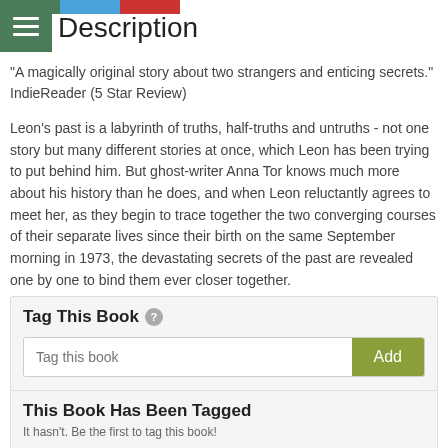Description
"A magically original story about two strangers and enticing secrets." IndieReader (5 Star Review)
Leon's past is a labyrinth of truths, half-truths and untruths - not one story but many different stories at once, which Leon has been trying to put behind him. But ghost-writer Anna Tor knows much more about his history than he does, and when Leon reluctantly agrees to meet her, as they begin to trace together the two converging courses of their separate lives since their birth on the same September morning in 1973, the devastating secrets of the past are revealed one by one to bind them ever closer together.
Tag This Book
This Book Has Been Tagged
It hasn't. Be the first to tag this book!